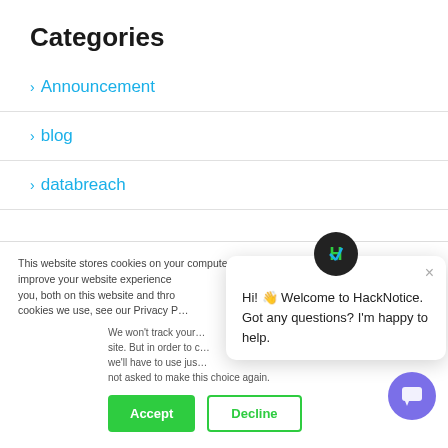Categories
Announcement
blog
databreach
This website stores cookies on your computer. These cookies are used to improve your website experience and provide more personalized services to you, both on this website and through other media. To find out more about the cookies we use, see our Privacy P...
We won't track your... site. But in order to c... we'll have to use jus... not asked to make this choice again.
[Figure (screenshot): Chat popup from HackNotice with message: Hi! Welcome to HackNotice. Got any questions? I'm happy to help.]
Accept
Decline